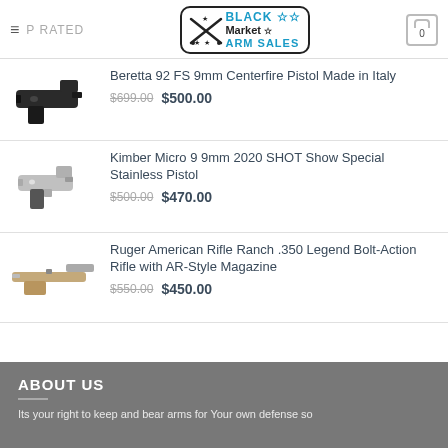Black Market Arm Sales — TOP RATED — Cart (0)
[Figure (photo): Beretta 92 FS black pistol product image]
Beretta 92 FS 9mm Centerfire Pistol Made in Italy
$699.00  $500.00
[Figure (photo): Kimber Micro 9 stainless pistol product image]
Kimber Micro 9 9mm 2020 SHOT Show Special Stainless Pistol
$500.00  $470.00
[Figure (photo): Ruger American Rifle Ranch tan/beige bolt-action rifle product image]
Ruger American Rifle Ranch .350 Legend Bolt-Action Rifle with AR-Style Magazine
$550.00  $450.00
ABOUT US
Its your right to keep and bear arms for Your own defense so